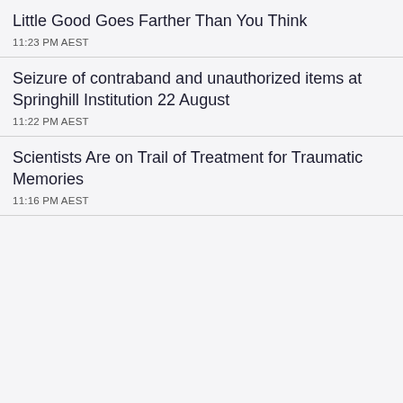Little Good Goes Farther Than You Think
11:23 PM AEST
Seizure of contraband and unauthorized items at Springhill Institution 22 August
11:22 PM AEST
Scientists Are on Trail of Treatment for Traumatic Memories
11:16 PM AEST